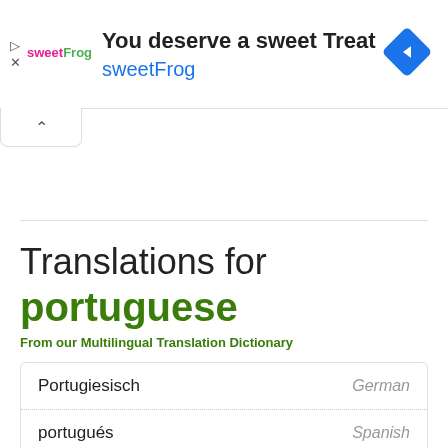[Figure (other): sweetFrog advertisement banner with logo, headline 'You deserve a sweet Treat', subheadline 'sweetFrog', and a blue diamond navigation icon]
Translations for portuguese
From our Multilingual Translation Dictionary
| Word | Language |
| --- | --- |
| Portugiesisch | German |
| portugués | Spanish |
| Portugis | Indonesian |